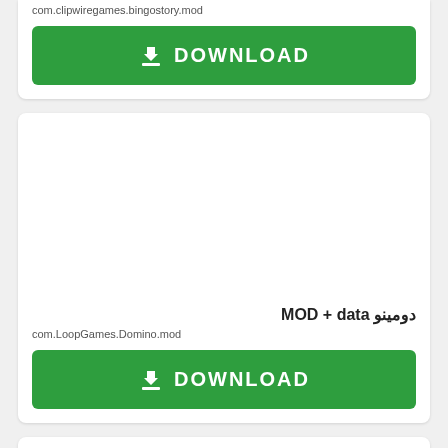com.clipwiregames.bingostory.mod
[Figure (other): Green DOWNLOAD button with download icon]
[Figure (other): App image placeholder area (white space)]
دومينو MOD + data
com.LoopGames.Domino.mod
[Figure (other): Green DOWNLOAD button with download icon]
[Figure (other): Third card partial view at bottom of page]